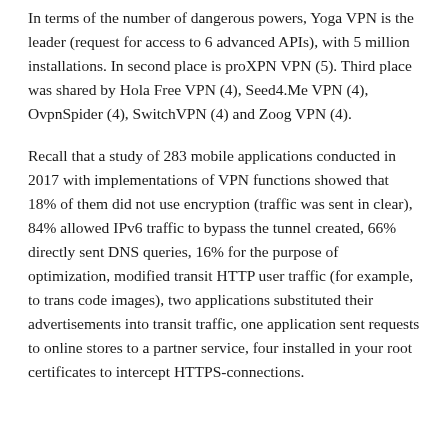In terms of the number of dangerous powers, Yoga VPN is the leader (request for access to 6 advanced APIs), with 5 million installations. In second place is proXPN VPN (5). Third place was shared by Hola Free VPN (4), Seed4.Me VPN (4), OvpnSpider (4), SwitchVPN (4) and Zoog VPN (4).
Recall that a study of 283 mobile applications conducted in 2017 with implementations of VPN functions showed that 18% of them did not use encryption (traffic was sent in clear), 84% allowed IPv6 traffic to bypass the tunnel created, 66% directly sent DNS queries, 16% for the purpose of optimization, modified transit HTTP user traffic (for example, to trans code images), two applications substituted their advertisements into transit traffic, one application sent requests to online stores to a partner service, four installed in your root certificates to intercept HTTPS-connections.